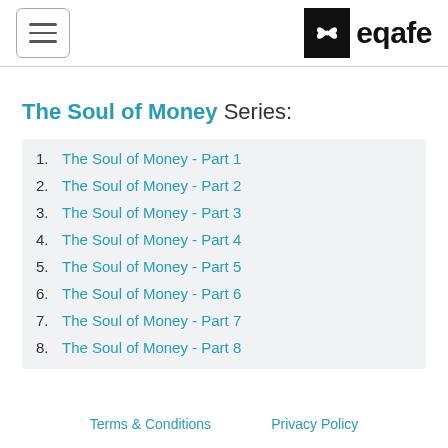eqafe
The Soul of Money Series:
1. The Soul of Money - Part 1
2. The Soul of Money - Part 2
3. The Soul of Money - Part 3
4. The Soul of Money - Part 4
5. The Soul of Money - Part 5
6. The Soul of Money - Part 6
7. The Soul of Money - Part 7
8. The Soul of Money - Part 8
Terms & Conditions   Privacy Policy